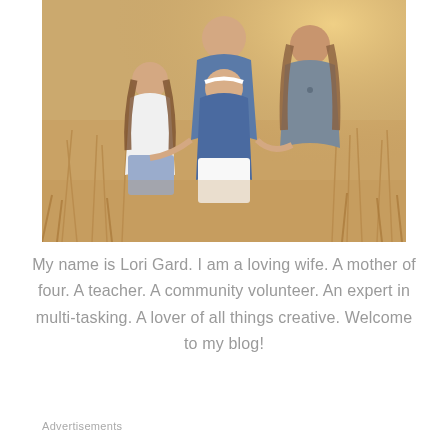[Figure (photo): Family photo of a woman with four children posing together in a golden wheat field. The group includes girls and a young adult, wearing casual summer clothing in whites, blues, and grays.]
My name is Lori Gard. I am a loving wife. A mother of four. A teacher. A community volunteer. An expert in multi-tasking. A lover of all things creative. Welcome to my blog!
Advertisements